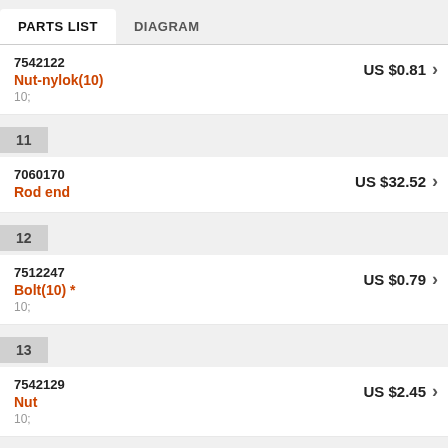PARTS LIST | DIAGRAM
10 | 7542122 | Nut-nylok(10) | 10; | US $0.81
11 | 7060170 | Rod end | US $32.52
12 | 7512247 | Bolt(10) * | 10; | US $0.79
13 | 7542129 | Nut | 10; | US $2.45
14